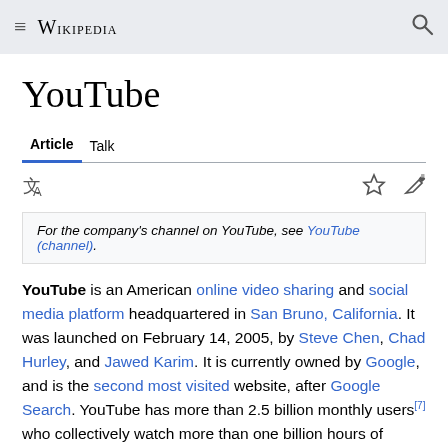Wikipedia
YouTube
Article  Talk
For the company's channel on YouTube, see YouTube (channel).
YouTube is an American online video sharing and social media platform headquartered in San Bruno, California. It was launched on February 14, 2005, by Steve Chen, Chad Hurley, and Jawed Karim. It is currently owned by Google, and is the second most visited website, after Google Search. YouTube has more than 2.5 billion monthly users[7] who collectively watch more than one billion hours of videos each day.[8] As of May 2019, videos